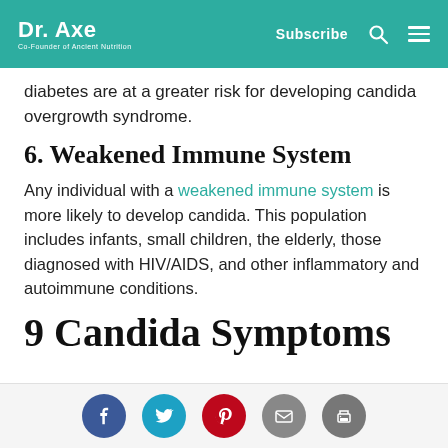Dr. Axe | Co-Founder of Ancient Nutrition | Subscribe
diabetes are at a greater risk for developing candida overgrowth syndrome.
6. Weakened Immune System
Any individual with a weakened immune system is more likely to develop candida. This population includes infants, small children, the elderly, those diagnosed with HIV/AIDS, and other inflammatory and autoimmune conditions.
9 Candida Symptoms
[Figure (infographic): Social sharing icons: Facebook (blue circle), Twitter (teal circle), Pinterest (red circle), Email (gray circle), Print (gray circle)]